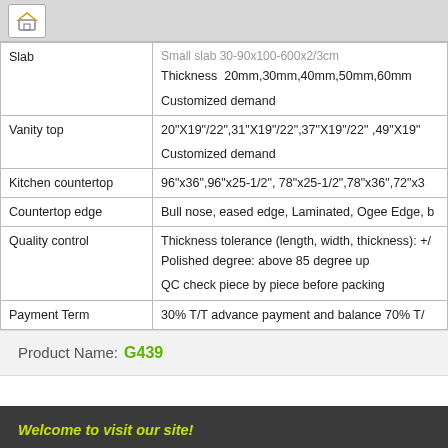| Category | Details |
| --- | --- |
| Slab | Small slab 30-90x100-600x2/3cm
Thickness  20mm,30mm,40mm,50mm,60mm
Customized demand |
| Vanity top | 20"X19"/22",31"X19"/22",37"X19"/22" ,49"X19"...
Customized demand |
| Kitchen countertop | 96"x36",96"x25-1/2", 78"x25-1/2",78"x36",72"x3... |
| Countertop edge | Bull nose, eased edge, Laminated, Ogee Edge, ... |
| Quality control | Thickness tolerance (length, width, thickness): +/...
Polished degree: above 85 degree up
QC check piece by piece before packing |
| Payment Term | 30% T/T advance payment and balance 70% T/... |
Product Name:  G439
Welcome to visit our site!